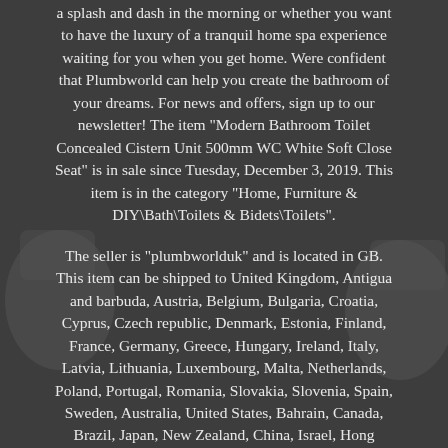a splash and dash in the morning or whether you want to have the luxury of a tranquil home spa experience waiting for you when you get home. Were confident that Plumbworld can help you create the bathroom of your dreams. For news and offers, sign up to our newsletter! The item "Modern Bathroom Toilet Concealed Cistern Unit 500mm WC White Soft Close Seat" is in sale since Tuesday, December 3, 2019. This item is in the category "Home, Furniture & DIY\Bath\Toilets & Bidets\Toilets".
The seller is "plumbworlduk" and is located in GB. This item can be shipped to United Kingdom, Antigua and barbuda, Austria, Belgium, Bulgaria, Croatia, Cyprus, Czech republic, Denmark, Estonia, Finland, France, Germany, Greece, Hungary, Ireland, Italy, Latvia, Lithuania, Luxembourg, Malta, Netherlands, Poland, Portugal, Romania, Slovakia, Slovenia, Spain, Sweden, Australia, United States, Bahrain, Canada, Brazil, Japan, New Zealand, China, Israel, Hong Kong, Norway, Indonesia, Malaysia, Mexico, Singapore, South